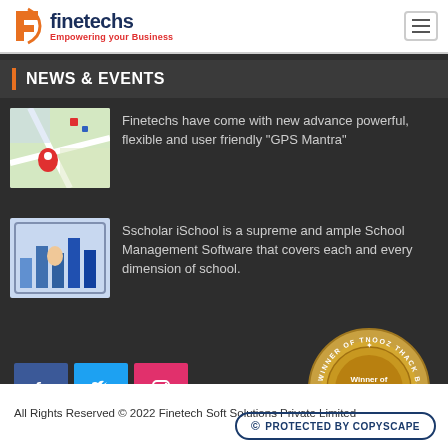[Figure (logo): Finetechs logo with orange F icon and tagline Empowering your Business]
NEWS & EVENTS
[Figure (photo): GPS map thumbnail with location pin]
Finetechs have come with new advance powerful, flexible and user friendly "GPS Mantra"
[Figure (photo): Person touching tablet with charts]
Sscholar iSchool is a supreme and ample School Management Software that covers each and every dimension of school.
[Figure (illustration): Social media icons: Facebook, Twitter, Instagram buttons and Tnooz Thack Bangalore winner badge]
All Rights Reserved © 2022 Finetech Soft Solutions Private Limited
[Figure (logo): Protected by Copyscape badge]